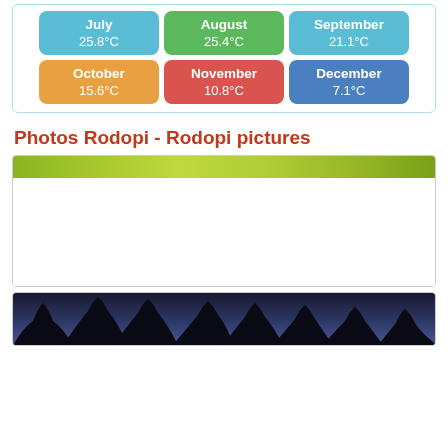[Figure (infographic): Monthly temperature tiles for July (25.8°C, sky blue), August (25.4°C, green), September (21.1°C, sky blue), October (15.6°C, orange), November (10.8°C, red), December (7.1°C, blue)]
Photos Rodopi - Rodopi pictures
[Figure (photo): Aerial or close-up photo of green treetops]
[Figure (photo): Night or dusk photo showing tree silhouettes against a blue-purple sky]